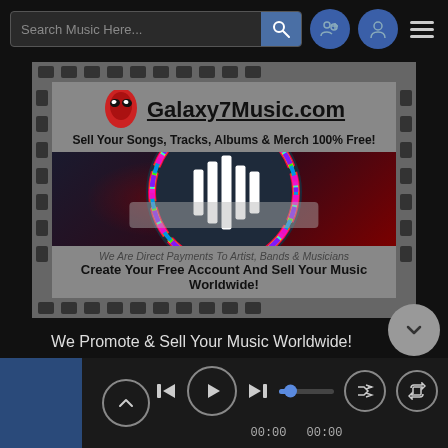[Figure (screenshot): Mobile music app screenshot showing a search bar with 'Search Music Here...' placeholder, search button, friend/profile icons, and hamburger menu in the top navigation bar.]
[Figure (screenshot): Galaxy7Music.com advertisement in a film strip frame. Shows alien logo, site name 'Galaxy7Music.com', taglines 'Sell Your Songs, Tracks, Albums & Merch 100% Free!', music visualizer with rainbow circular ring and white bars, 'We Are Direct Payments To Artist, Bands & Musicians', 'Create Your Free Account And Sell Your Music Worldwide!']
We Promote & Sell Your Music Worldwide!
[Figure (screenshot): Mobile music player bottom bar with album art thumbnail, up chevron, previous track, play button, next track, progress bar at ~20%, time stamps 00:00 and 00:00, shuffle and repeat buttons.]